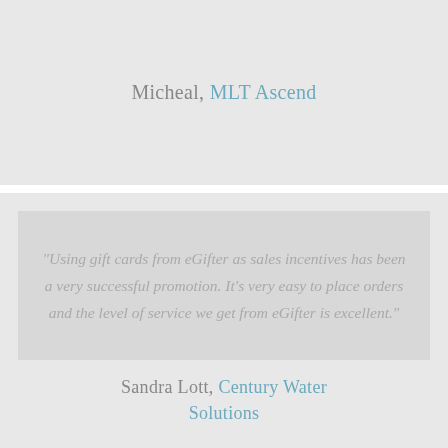Micheal, MLT Ascend
“Using gift cards from eGifter as sales incentives has been a very successful promotion. It’s very easy to place orders and the level of service we get from eGifter is excellent.”
Sandra Lott, Century Water Solutions